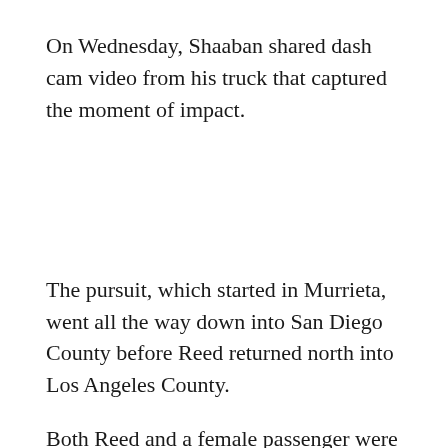On Wednesday, Shaaban shared dash cam video from his truck that captured the moment of impact.
The pursuit, which started in Murrieta, went all the way down into San Diego County before Reed returned north into Los Angeles County.
Both Reed and a female passenger were taken into